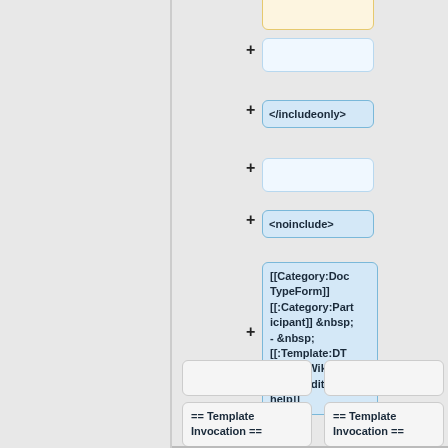[Figure (flowchart): A flowchart diagram showing a sequence of nodes connected by plus connectors. Nodes include empty boxes, </includeonly>, empty box, <noinclude>, a large node with [[Category:DocTypeForm]] [[:Category:Participant]] &nbsp; - &nbsp; [[:Template:DT Article Wiki (Intro)|edit help]], and at the bottom two columns each with an empty rounded box and '== Template Invocation ==' text nodes.]